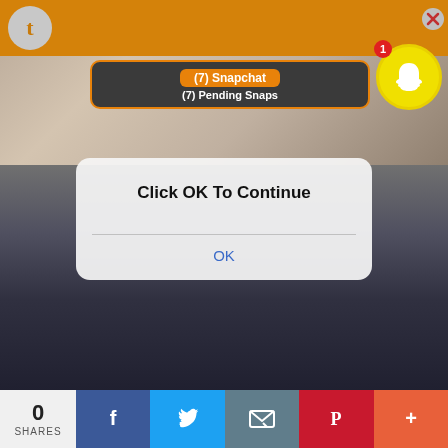[Figure (screenshot): Screenshot of a mobile device showing a Snapchat notification banner over a photo background, with an iOS-style dialog box saying 'Click OK To Continue' with an OK button, and a social share bar at the bottom with Facebook, Twitter, email, Pinterest, and more buttons showing 0 SHARES.]
(7) Snapchat
(7) Pending Snaps
Click OK To Continue
OK
0
SHARES